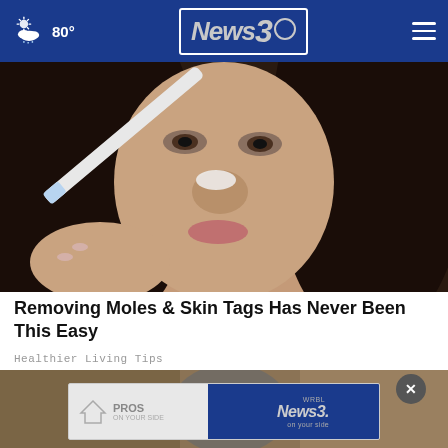80° News 3
[Figure (photo): Close-up of a woman applying white substance to her nose with a toothbrush]
Removing Moles & Skin Tags Has Never Been This Easy
Healthier Living Tips
[Figure (photo): Partially visible second article image with an advertisement overlay showing PROS ON YOUR SIDE and News 3 WRBL logo, with a close (X) button]
[Figure (screenshot): Advertisement banner: PROS ON YOUR SIDE | News 3 WRBL on your side]